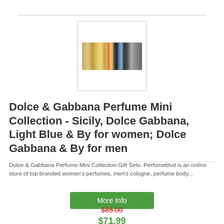[Figure (photo): Product image of Dolce & Gabbana Perfume Mini Collection gift set, showing several small perfume bottles in a row with colorful caps]
Dolce & Gabbana Perfume Mini Collection - Sicily, Dolce Gabbana, Light Blue & By for women; Dolce Gabbana & By for men
Dolce & Gabbana Perfume Mini Collection Gift Sets. Perfumeblvd is an online store of top branded women's perfumes, men's cologne, perfume body...
More Info
$85.00
$71.99
Save: $13.01 off